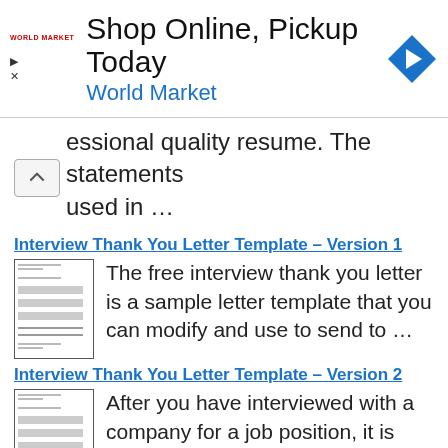[Figure (screenshot): Advertisement banner for World Market: 'Shop Online, Pickup Today - World Market' with play/close icons and a blue diamond navigation icon]
...essional quality resume. The statements used in ...
Interview Thank You Letter Template – Version 1
[Figure (screenshot): Thumbnail of a letter document for Interview Thank You Letter Template Version 1]
The free interview thank you letter is a sample letter template that you can modify and use to send to ...
Interview Thank You Letter Template – Version 2
[Figure (screenshot): Thumbnail of a letter document for Interview Thank You Letter Template Version 2]
After you have interviewed with a company for a job position, it is